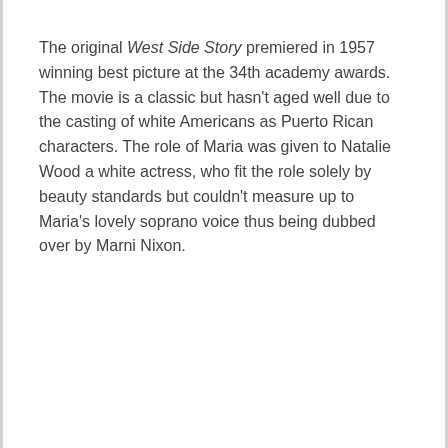The original West Side Story premiered in 1957 winning best picture at the 34th academy awards. The movie is a classic but hasn't aged well due to the casting of white Americans as Puerto Rican characters. The role of Maria was given to Natalie Wood a white actress, who fit the role solely by beauty standards but couldn't measure up to Maria's lovely soprano voice thus being dubbed over by Marni Nixon.